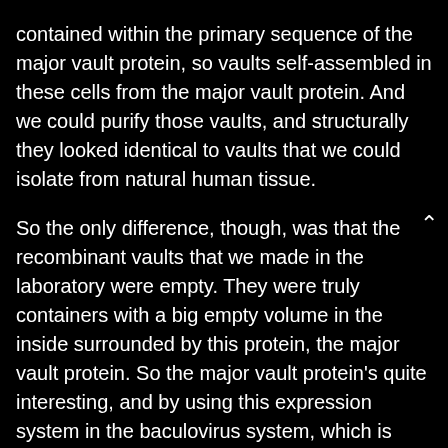contained within the primary sequence of the major vault protein, so vaults self-assembled in these cells from the major vault protein. And we could purify those vaults, and structurally they looked identical to vaults that we could isolate from natural human tissue.
So the only difference, though, was that the recombinant vaults that we made in the laboratory were empty. They were truly containers with a big empty volume in the inside surrounded by this protein, the major vault protein. So the major vault protein's quite interesting, and by using this expression system in the baculovirus system, which is what we used in insect cells, we were able to make vaults and alter the structure of the major vault protein in order to try to figure out how was it arranged in the vault particle.
Proteins have a beginning called the N terminus,